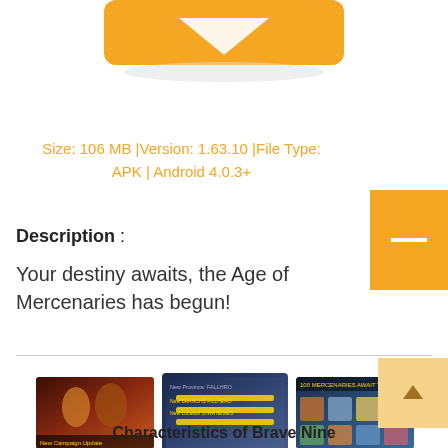[Figure (illustration): Orange download button icon (envelope/arrow shape) at top of page]
Size: 106 MB |Version: 1.63.10 |File Type: APK | Android 4.0.3+
Description :
Your destiny awaits, the Age of Mercenaries has begun!
[Figure (screenshot): Three game screenshots showing characters and game announcements]
Characteristics of Brave Nine